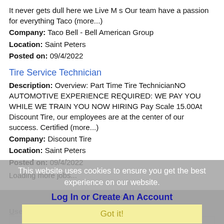It never gets dull here we Live M s Our team have a passion for everything Taco (more...)
Company: Taco Bell - Bell American Group
Location: Saint Peters
Posted on: 09/4/2022
Tire Service Technician
Description: Overview: Part Time Tire TechnicianNO AUTOMOTIVE EXPERIENCE REQUIRED: WE PAY YOU WHILE WE TRAIN YOU NOW HIRING Pay Scale 15.00At Discount Tire, our employees are at the center of our success. Certified (more...)
Company: Discount Tire
Location: Saint Peters
Posted on: 09/4/2022
Loading more jobs...
This website uses cookies to ensure you get the best experience on our website.
Learn more
Log In or Create An Account
Got it!
Username: